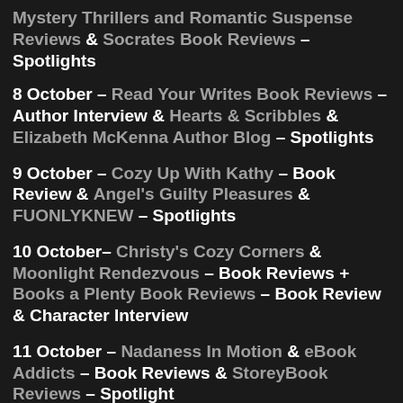Mystery Thrillers and Romantic Suspense Reviews & Socrates Book Reviews – Spotlights
8 October – Read Your Writes Book Reviews – Author Interview & Hearts & Scribbles & Elizabeth McKenna Author Blog – Spotlights
9 October – Cozy Up With Kathy – Book Review & Angel's Guilty Pleasures & FUONLYKNEW – Spotlights
10 October– Christy's Cozy Corners & Moonlight Rendezvous – Book Reviews + Books a Plenty Book Reviews – Book Review & Character Interview
11 October – Nadaness In Motion & eBook Addicts – Book Reviews & StoreyBook Reviews – Spotlight
12 October 12 – I Read What You Write & Literary Gold – Spotlights & Melinda's Book Blog